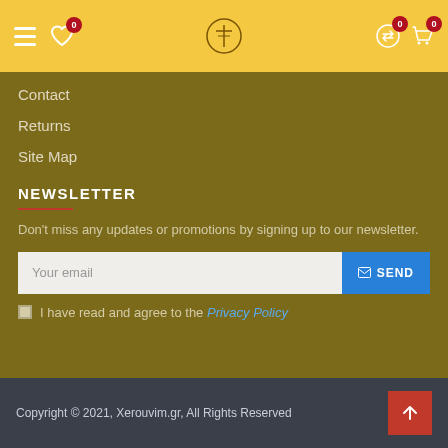Navigation header with hamburger menu, wishlist (0), logo, exchange (0), cart (0)
Contact
Returns
Site Map
NEWSLETTER
Don't miss any updates or promotions by signing up to our newsletter.
Your email  [input]  ✉ SEND
I have read and agree to the Privacy Policy
Copyright © 2021, Xerouvim.gr, All Rights Reserved